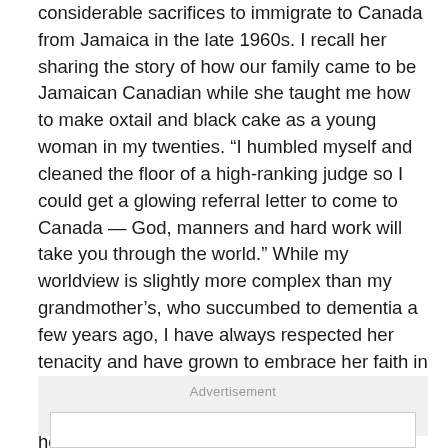considerable sacrifices to immigrate to Canada from Jamaica in the late 1960s. I recall her sharing the story of how our family came to be Jamaican Canadian while she taught me how to make oxtail and black cake as a young woman in my twenties. “I humbled myself and cleaned the floor of a high-ranking judge so I could get a glowing referral letter to come to Canada — God, manners and hard work will take you through the world.” While my worldview is slightly more complex than my grandmother’s, who succumbed to dementia a few years ago, I have always respected her tenacity and have grown to embrace her faith in my own way. A faith that carried her across an unknown ocean to work in a mercilessly hot hotel laundromat while baking and sewing on the side to purchase her first home, which happened to be located on a residential street in Toronto’s Little Jamaica.
Advertisement